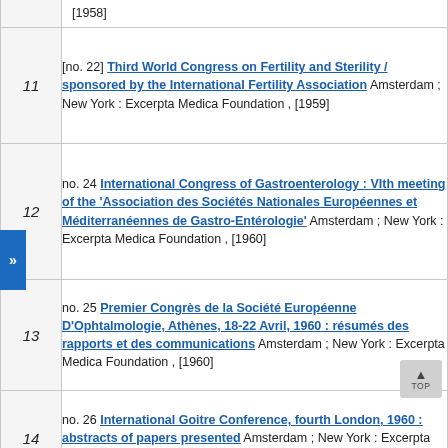| # | Entry |
| --- | --- |
|  | [1958] |
| 11 | [no. 22] Third World Congress on Fertility and Sterility / sponsored by the International Fertility Association Amsterdam ; New York : Excerpta Medica Foundation , [1959] |
| 12 | no. 24 International Congress of Gastroenterology : VIth meeting of the 'Association des Sociétés Nationales Européennes et Méditerranéennes de Gastro-Entérologie' Amsterdam ; New York : Excerpta Medica Foundation , [1960] |
| 13 | no. 25 Premier Congrès de la Société Européenne D'Ophtalmologie, Athènes, 18-22 Avril, 1960 : résumés des rapports et des communications Amsterdam ; New York : Excerpta Medica Foundation , [1960] |
| 14 | no. 26 International Goitre Conference, fourth London, 1960 : abstracts of papers presented Amsterdam ; New York : Excerpta Medica Foundation , 1960 |
|  | no. 27 The Fifth International Poliomyelitis Conference, July 26-28, 1960, Copenhagen : abstracts of papers |